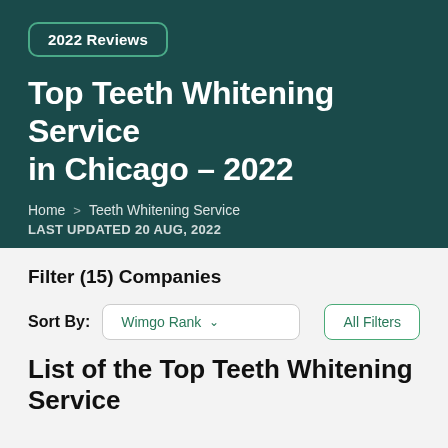2022 Reviews
Top Teeth Whitening Service in Chicago – 2022
Home > Teeth Whitening Service
LAST UPDATED 20 Aug, 2022
Filter (15) Companies
Sort By: Wimgo Rank ∨   All Filters
List of the Top Teeth Whitening Service